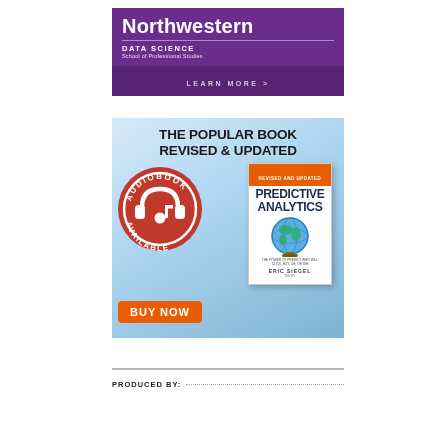[Figure (illustration): Northwestern Data Science School of Professional Studies advertisement banner with purple background and 'LEARN MORE >' button]
[Figure (illustration): Book advertisement for 'Predictive Analytics' by Eric Siegel (Revised & Updated). Shows text 'THE POPULAR BOOK REVISED & UPDATED', an audiobook available badge, a book cover, and a 'BUY NOW' orange button.]
PRODUCED BY: